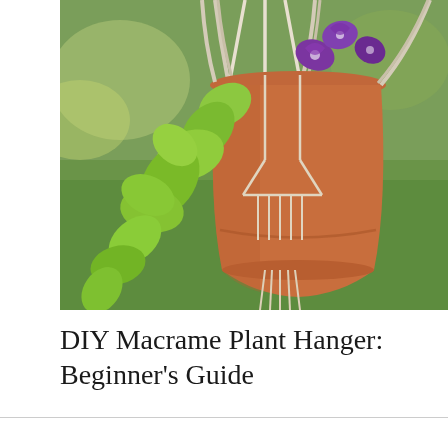[Figure (photo): A terracotta clay pot with a macrame plant hanger, containing bright green trailing vines and purple morning glory flowers, hanging outdoors against a blurred green lawn background.]
DIY Macrame Plant Hanger: Beginner's Guide